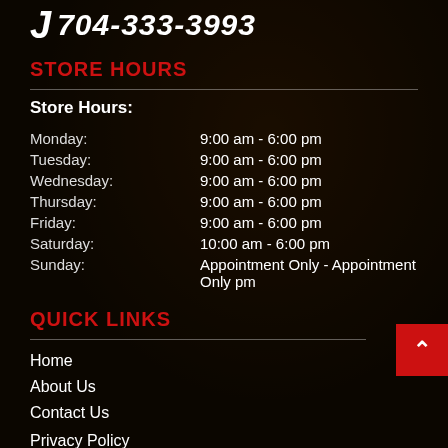704-333-3993
STORE HOURS
Store Hours:
| Day | Hours |
| --- | --- |
| Monday: | 9:00 am - 6:00 pm |
| Tuesday: | 9:00 am - 6:00 pm |
| Wednesday: | 9:00 am - 6:00 pm |
| Thursday: | 9:00 am - 6:00 pm |
| Friday: | 9:00 am - 6:00 pm |
| Saturday: | 10:00 am - 6:00 pm |
| Sunday: | Appointment Only - Appointment Only pm |
QUICK LINKS
Home
About Us
Contact Us
Privacy Policy